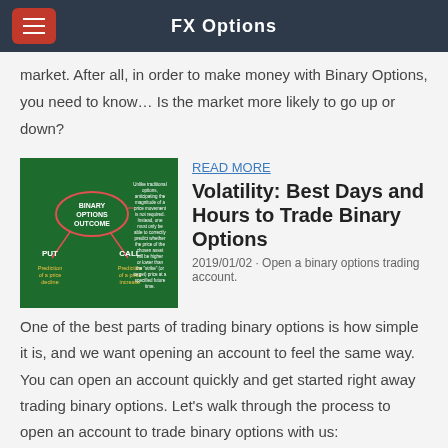FX Options
market. After all, in order to make money with Binary Options, you need to know… Is the market more likely to go up or down?
[Figure (infographic): Binary Options Outcome infographic showing PUT and CALL branches with text about price movement prediction]
READ MORE
Volatility: Best Days and Hours to Trade Binary Options
2019/01/02 · Open a binary options trading account. One of the best parts of trading binary options is how simple it is, and we want opening an account to feel the same way. You can open an account quickly and get started right away trading binary options. Let's walk through the process to open an account to trade binary options with us:
[Figure (illustration): How To Trade text logo in red with green underline bar]
READ MORE